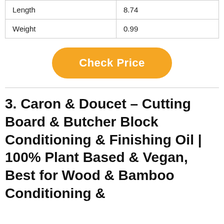| Length | 8.74 |
| Weight | 0.99 |
Check Price
3. Caron & Doucet – Cutting Board & Butcher Block Conditioning & Finishing Oil | 100% Plant Based & Vegan, Best for Wood & Bamboo Conditioning &